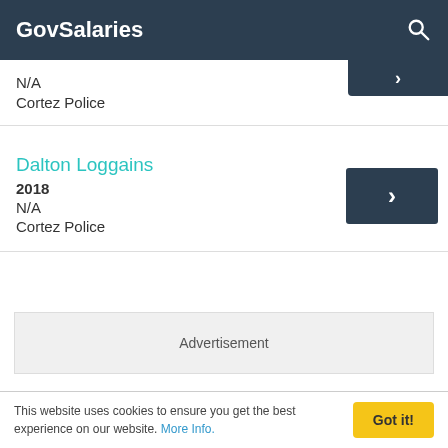GovSalaries
N/A
Cortez Police
Dalton Loggains
2018
N/A
Cortez Police
[Figure (other): Advertisement placeholder box]
This website uses cookies to ensure you get the best experience on our website. More Info.